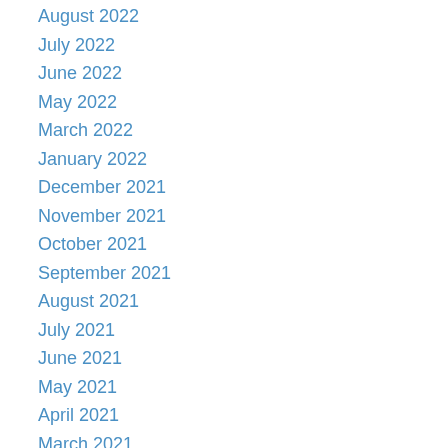August 2022
July 2022
June 2022
May 2022
March 2022
January 2022
December 2021
November 2021
October 2021
September 2021
August 2021
July 2021
June 2021
May 2021
April 2021
March 2021
February 2021
January 2021
December 2020
November 2020